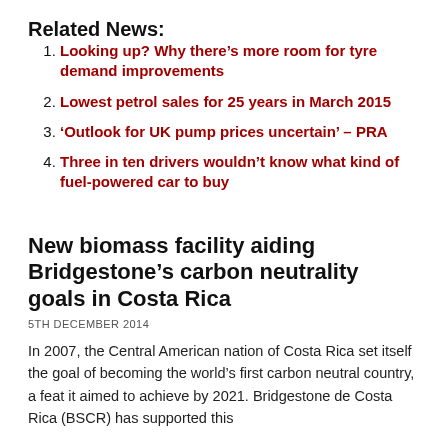Related News:
Looking up? Why there's more room for tyre demand improvements
Lowest petrol sales for 25 years in March 2015
'Outlook for UK pump prices uncertain' – PRA
Three in ten drivers wouldn't know what kind of fuel-powered car to buy
New biomass facility aiding Bridgestone's carbon neutrality goals in Costa Rica
5TH DECEMBER 2014
In 2007, the Central American nation of Costa Rica set itself the goal of becoming the world's first carbon neutral country, a feat it aimed to achieve by 2021. Bridgestone de Costa Rica (BSCR) has supported this